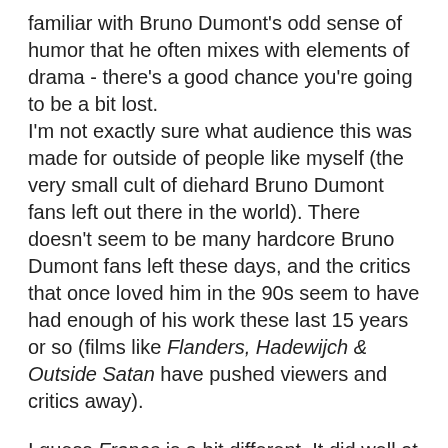familiar with Bruno Dumont's odd sense of humor that he often mixes with elements of drama - there's a good chance you're going to be a bit lost. I'm not exactly sure what audience this was made for outside of people like myself (the very small cult of diehard Bruno Dumont fans left out there in the world). There doesn't seem to be many hardcore Bruno Dumont fans left these days, and the critics that once loved him in the 90s seem to have had enough of his work these last 15 years or so (films like Flanders, Hadewijch & Outside Satan have pushed viewers and critics away).
I guess France is a bit different. It did well at Cannes and is getting a pretty decent international release unlike Dumont's last handful of films (I'm sure Lea Seydoux's presence had something to do with that). My worry is that this might be an introduction to the world of Bruno Dumont and his incredibly unique style for many people. When I saw France on the big screen I found myself cracking up alone at times in a mostly packed theater full of confused people who didn't know if they should be laughing or not. France is very much a socio-political satire/commentary on current world events but not in